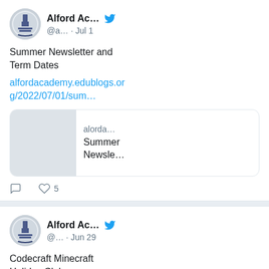[Figure (screenshot): Twitter/social media feed showing two tweets from Alford Academy account. First tweet dated Jul 1 about Summer Newsletter and Term Dates with a link preview. Second tweet dated Jun 29 about Codecraft Minecraft Holiday Club with a link.]
Alford Ac... @a... · Jul 1
Summer Newsletter and Term Dates
alfordacademy.edublogs.org/2022/07/01/sum…
alforда... Summer Newsle...
5
Alford Ac... @... · Jun 29
Codecraft Minecraft Holiday Club
alfordacademy.edublogs.org/2022/06/29/cod…